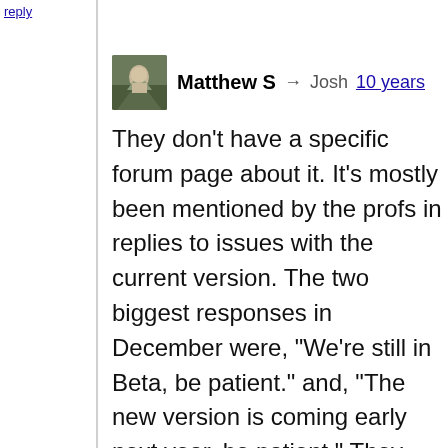10 years
Matthew S → Josh  10 years
They don't have a specific forum page about it. It's mostly been mentioned by the profs in replies to issues with the current version. The two biggest responses in December were, “We’re still in Beta, be patient.” and, “The new version is coming early next year, be patient.” They seem to have dropped the